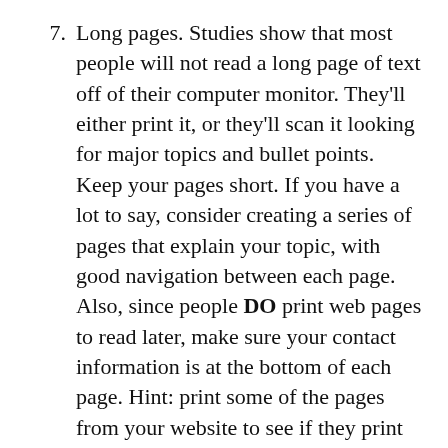7. Long pages. Studies show that most people will not read a long page of text off of their computer monitor. They'll either print it, or they'll scan it looking for major topics and bullet points. Keep your pages short. If you have a lot to say, consider creating a series of pages that explain your topic, with good navigation between each page. Also, since people DO print web pages to read later, make sure your contact information is at the bottom of each page. Hint: print some of the pages from your website to see if they print properly.
8. Not identifying the benefits of your products or services. People make purchases for two reasons: to get rid of